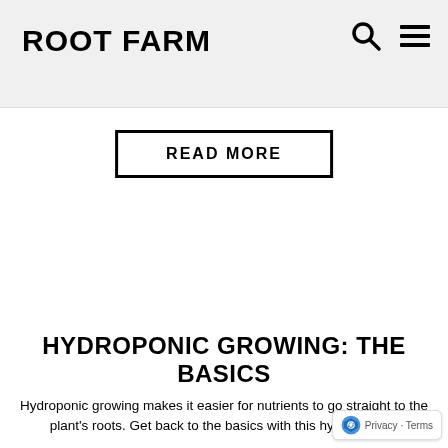ROOT FARM
READ MORE
HYDROPONIC GROWING: THE BASICS
Hydroponic growing makes it easier for nutrients to go straight to the plant's roots. Get back to the basics with this hydro primer.